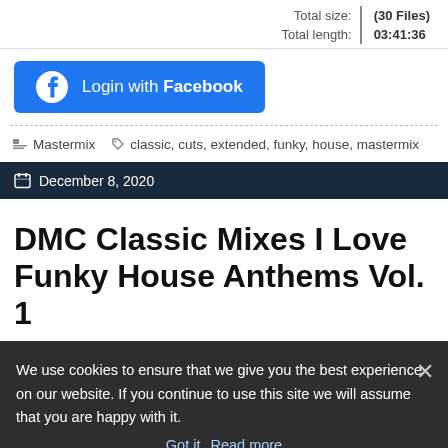| Total size: | (30 Files) |
| Total length: | 03:41:36 |
[Figure (other): Facebook login button with Facebook icon, blue background, text: Login with Facebook]
Mastermix   classic, cuts, extended, funky, house, mastermix
December 8, 2020
DMC Classic Mixes I Love Funky House Anthems Vol. 1
We use cookies to ensure that we give you the best experience on our website. If you continue to use this site we will assume that you are happy with it. Got it  Read more
Medjo - Degrees Of... 126 - Julie Roberts - Caug... - Mozilla - As You Do...